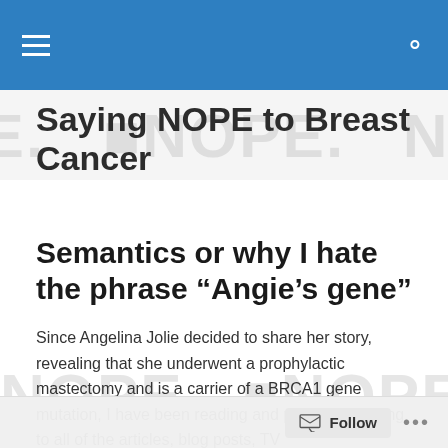Navigation bar with menu and search icons
Saying NOPE to Breast Cancer
Semantics or why I hate the phrase “Angie’s gene”
Since Angelina Jolie decided to share her story, revealing that she underwent a prophylactic mastectomy and is a carrier of a BRCA1 gene mutation, I have been reading and privately reacting to all of the articles, blog posts, TV
Follow